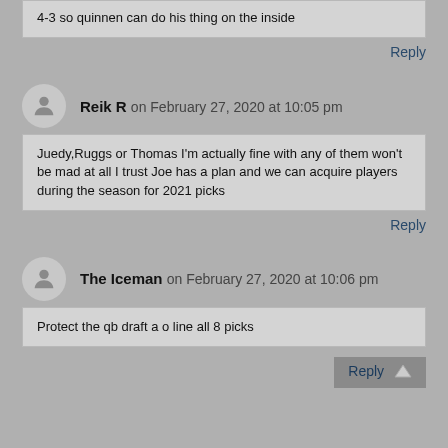4-3 so quinnen can do his thing on the inside
Reply
Reik R on February 27, 2020 at 10:05 pm
Juedy,Ruggs or Thomas I'm actually fine with any of them won't be mad at all I trust Joe has a plan and we can acquire players during the season for 2021 picks
Reply
The Iceman on February 27, 2020 at 10:06 pm
Protect the qb draft a o line all 8 picks
Reply